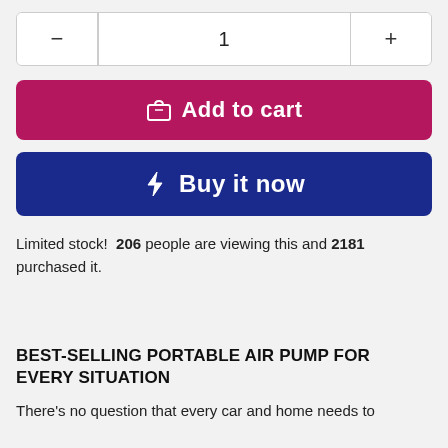[Figure (other): Quantity selector with minus button, number 1, and plus button]
[Figure (other): Add to cart button with shopping bag icon]
[Figure (other): Buy it now button with lightning bolt icon]
Limited stock! 206 people are viewing this and 2181 purchased it.
BEST-SELLING PORTABLE AIR PUMP FOR EVERY SITUATION
There's no question that every car and home needs to